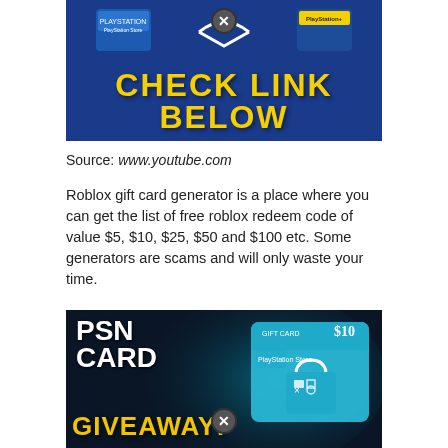[Figure (screenshot): Blue banner ad with PlayStation logo cards and text 'CHECK LINK BELOW' in bold yellow letters on dark blue background, with a close (X) button]
Source: www.youtube.com
Roblox gift card generator is a place where you can get the list of free roblox redeem code of value $5, $10, $25, $50 and $100 etc. Some generators are scams and will only waste your time.
[Figure (screenshot): Dark banner ad showing 'PSN CARD GIVEAWAY!' text with a $10 PlayStation Store gift card image on the right, teal/dark background, with a close (X) button]